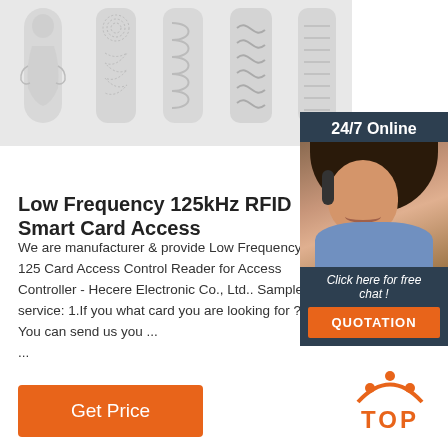[Figure (photo): Five white RFID smart card inlay tags displayed side by side on a light gray background, each showing different antenna coil patterns embossed on the surface.]
[Figure (infographic): 24/7 Online chat widget with a smiling female customer service agent wearing a headset, dark blue background, with 'Click here for free chat!' text and an orange QUOTATION button.]
Low Frequency 125kHz RFID Smart Card Access
We are manufacturer & provide Low Frequency 125 Card Access Control Reader for Access Controller - Hecere Electronic Co., Ltd.. Sample service: 1.If you what card you are looking for ? You can send us you ...
[Figure (other): Orange 'Get Price' button]
[Figure (logo): Orange TOP logo with dot arc pattern above the word TOP]